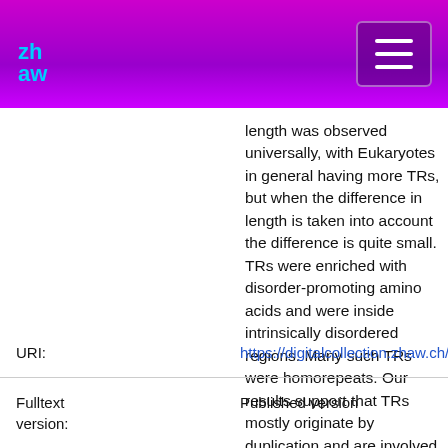ZHAW Digital Collection header with navigation
length was observed universally, with Eukaryotes in general having more TRs, but when the difference in length is taken into account the difference is quite small. TRs were enriched with disorder-promoting amino acids and were inside intrinsically disordered regions. Many such TRs were homorepeats. Our results support that TRs mostly originate by duplication and are involved in essential functions such as transcription processes, structural organization, electron transport and iron-binding. In viruses, TRs are found in proteins essential for virulence.
| Field | Value |
| --- | --- |
| URI: | https://digitalcollection.zhaw.ch/handle/11475/1997... |
| Fulltext version: | Published version |
| License (according to | CC BY 4.0: Attribution 4.0 International |